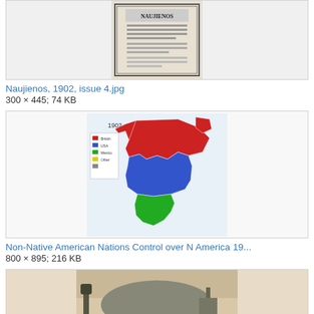[Figure (photo): Partial view of Naujienos 1902 issue 4 newspaper/publication cover with decorative border, black and white]
Naujienos, 1902, issue 4.jpg
300 × 445; 74 KB
[Figure (map): Color map of North America showing Non-Native American Nations control in 1902, with red for Canada/British, blue for USA, green for Mexico, yellow for other territories]
Non-Native American Nations Control over N America 19...
800 × 895; 216 KB
[Figure (photo): Partial view of a sepia/vintage landscape photograph showing a mountain or hill with industrial structures]